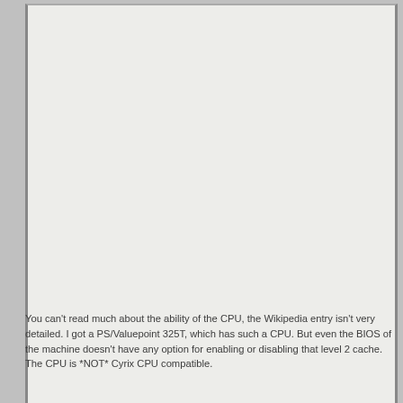You can't read much about the ability of the CPU, the Wikipedia entry isn't very detailed. I got a PS/Valuepoint 325T, which has such a CPU. But even the BIOS of the machine doesn't have any option for enabling or disabling that level 2 cache.
The CPU is *NOT* Cyrix CPU compatible.